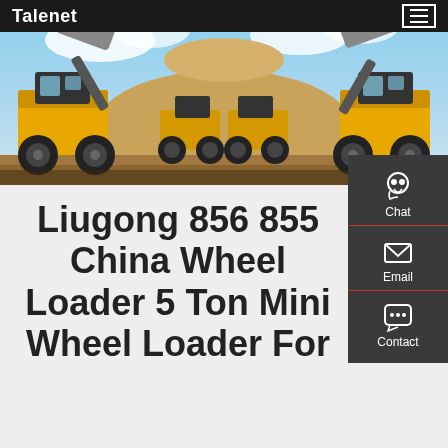Talenet
[Figure (photo): Two large yellow Liugong wheel loaders facing each other with raised buckets full of sand/gravel, against a blue sky with clouds and a sand mound in the background.]
Liugong 856 855 China Wheel Loader 5 Ton Mini Wheel Loader For
[Figure (infographic): Side panel with three contact options: Chat (headset icon), Email (envelope icon), Contact (speech bubble icon), on dark gray background with red dividers.]